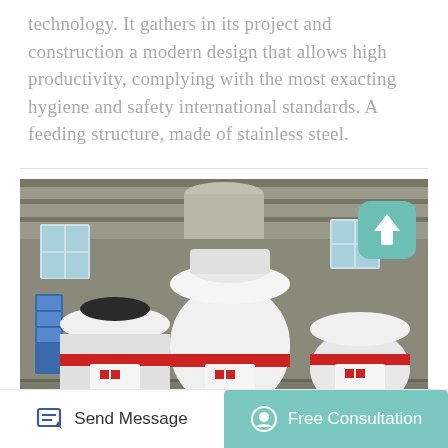technology. It gathers in its project and construction a modern design that allows high productivity, complying with the most exacting hygiene and safety international standards. A feeding structure, made of stainless steel.
[Figure (photo): Industrial photograph showing three large white cylindrical pellet mill machines with red accent bands, standing in a factory/warehouse setting with concrete walls, windows, and industrial ceiling structure visible. The machines appear to be wood pellet or biomass pellet mills.]
Send Message
Free Consultation